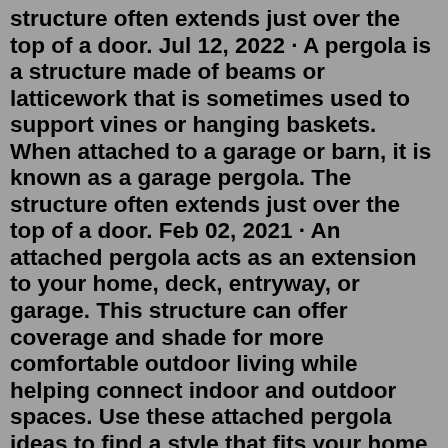structure often extends just over the top of a door. Jul 12, 2022 · A pergola is a structure made of beams or latticework that is sometimes used to support vines or hanging baskets. When attached to a garage or barn, it is known as a garage pergola. The structure often extends just over the top of a door. Feb 02, 2021 · An attached pergola acts as an extension to your home, deck, entryway, or garage. This structure can offer coverage and shade for more comfortable outdoor living while helping connect indoor and outdoor spaces. Use these attached pergola ideas to find a style that fits your home and lifestyle. Save Photo. Garage Arbors & Porticos. Georgia Front Porch. Arbor pergola over garage doors - designed and built by Georgia Front Porch. Garage - mid-sized traditional attached two-car garage idea in Atlanta. Save Photo. Cedar Pergola over Garage. Esposito Design. Mid-sized eclectic staircase photo in Jacksonville. Apr 10, 2015 · Before our garage looked like it was suitable only for being torn down (and we thought about it). But a new roof, paint job and the pergola have